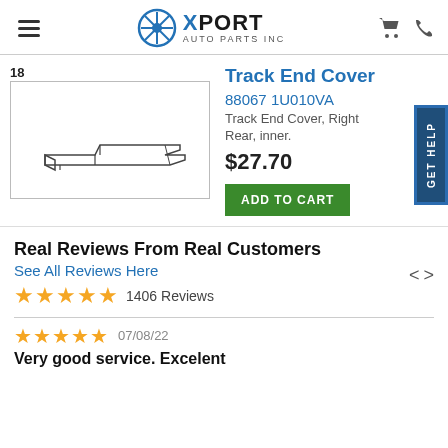Xport Auto Parts Inc
[Figure (photo): Technical line drawing of Track End Cover part, right side view]
Track End Cover
88067 1U010VA
Track End Cover, Right
Rear, inner.
$27.70
ADD TO CART
Real Reviews From Real Customers
See All Reviews Here
1406 Reviews
07/08/22
Very good service. Excelent